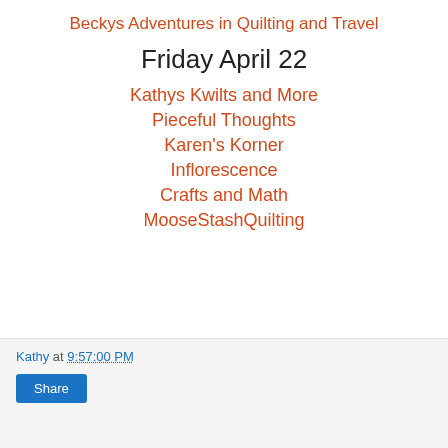Beckys Adventures in Quilting and Travel
Friday April 22
Kathys Kwilts and More
Pieceful Thoughts
Karen's Korner
Inflorescence
Crafts and Math
MooseStashQuilting
Kathy at 9:57:00 PM Share